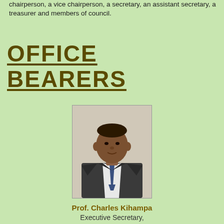chairperson, a vice chairperson, a secretary, an assistant secretary, a treasurer and members of council.
OFFICE BEARERS
[Figure (photo): Portrait photo of Prof. Charles Kihampa, a man in a dark suit with a tie, against a neutral background.]
Prof. Charles Kihampa
Executive Secretary,
Tanzania Commission for Univesities
Chairman (2017)